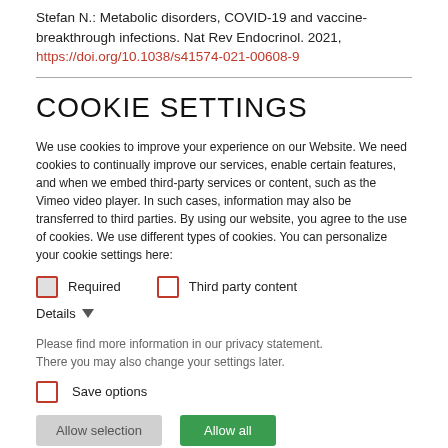Stefan N.: Metabolic disorders, COVID-19 and vaccine-breakthrough infections. Nat Rev Endocrinol. 2021, https://doi.org/10.1038/s41574-021-00608-9
COOKIE SETTINGS
We use cookies to improve your experience on our Website. We need cookies to continually improve our services, enable certain features, and when we embed third-party services or content, such as the Vimeo video player. In such cases, information may also be transferred to third parties. By using our website, you agree to the use of cookies. We use different types of cookies. You can personalize your cookie settings here:
Required   Third party content
Details
Please find more information in our privacy statement.
There you may also change your settings later.
Save options
Allow selection   Allow all